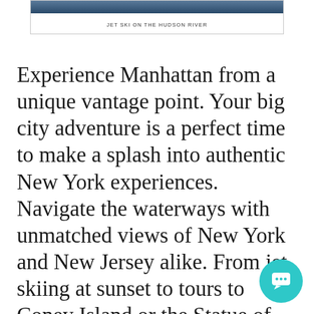[Figure (photo): Jet ski on the Hudson River — partial image visible at top of page showing water scene]
JET SKI ON THE HUDSON RIVER
Experience Manhattan from a unique vantage point. Your big city adventure is a perfect time to make a splash into authentic New York experiences. Navigate the waterways with unmatched views of New York and New Jersey alike. From jet skiing at sunset to tours to Coney Island or the Statue of Liberty, taking on New York by water is a sure way to combine unmatched exhilaration